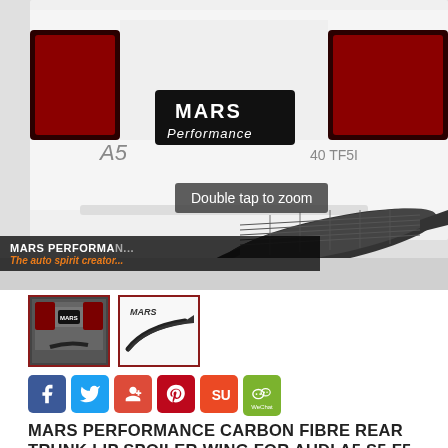[Figure (photo): Product listing page for Mars Performance Carbon Fibre Rear Trunk Lip Spoiler Wing for Audi A5 S5 F5. Shows main product image with white Audi A5 car rear with Mars Performance logo plate and a carbon fibre spoiler wing piece. Below are two thumbnail images. Social share buttons (Facebook, Twitter, Google+, Pinterest, StumbleUpon, WeChat) are shown. Product title text at bottom.]
MARS PERFORMANCE CARBON FIBRE REAR TRUNK LIP SPOILER WING FOR AUDI A5 S5 F5